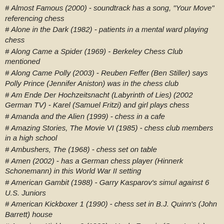# Almost Famous (2000) - soundtrack has a song, "Your Move" referencing chess
# Alone in the Dark (1982) - patients in a mental ward playing chess
# Along Came a Spider (1969) - Berkeley Chess Club mentioned
# Along Came Polly (2003) - Reuben Feffer (Ben Stiller) says Polly Prince (Jennifer Aniston) was in the chess club
# Am Ende Der Hochzeitsnacht (Labyrinth of Lies) (2002 German TV) - Karel (Samuel Fritzi) and girl plays chess
# Amanda and the Alien (1999) - chess in a cafe
# Amazing Stories, The Movie VI (1985) - chess club members in a high school
# Ambushers, The (1968) - chess set on table
# Amen (2002) - has a German chess player (Hinnerk Schonemann) in this World War II setting
# American Gambit (1988) - Garry Kasparov's simul against 6 U.S. Juniors
# American Kickboxer 1 (1990) - chess set in B.J. Quinn's (John Barrett) house
# American Kickboxer 2 (1993) - Uncle Francis (Greg Lewis) with a chess set